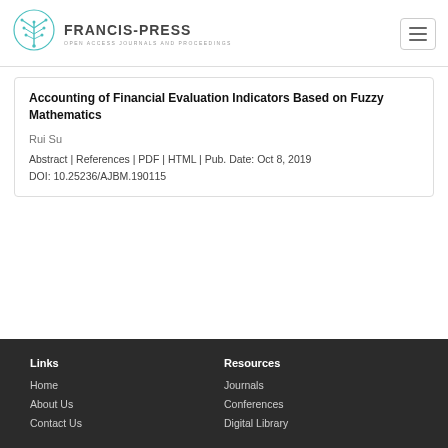FRANCIS-PRESS | OPEN ACCESS JOURNALS AND PROCEEDINGS
Accounting of Financial Evaluation Indicators Based on Fuzzy Mathematics
Rui Su
Abstract | References | PDF | HTML | Pub. Date: Oct 8, 2019
DOI: 10.25236/AJBM.190115
Links: Home, About Us, Contact Us | Resources: Journals, Conferences, Digital Library